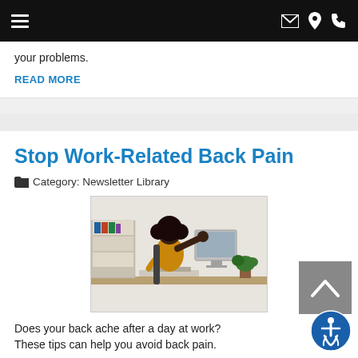Navigation bar with menu, email, location, and phone icons
your problems.
READ MORE
Stop Work-Related Back Pain
Category: Newsletter Library
[Figure (photo): A person sitting at a desk in an office, reaching back to hold their neck/shoulder in pain, with a monitor and shelves visible in the background.]
Does your back ache after a day at work? These tips can help you avoid back pain.
READ MORE